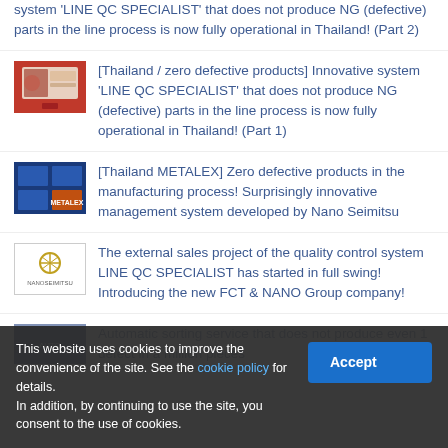system 'LINE QC SPECIALIST' that does not produce NG (defective) parts in the line process is now fully operational in Thailand! (Part 2)
[Thailand / zero defective products] Innovative system 'LINE QC SPECIALIST' that does not produce NG (defective) parts in the line process is now fully operational in Thailand! (Part 1)
[Thailand METALEX] Zero defective products in the manufacturing process! Surprisingly innovative management system developed by Nano Seimitsu
The external sales project of the quality control system LINE QC SPECIALIST has started in full swing! Introducing the new FCT & NANO Group company!
Automatic sorting service that does not produce even 1 defect in a million pieces
This website uses cookies to improve the convenience of the site. See the cookie policy for details.
In addition, by continuing to use the site, you consent to the use of cookies.
Accept